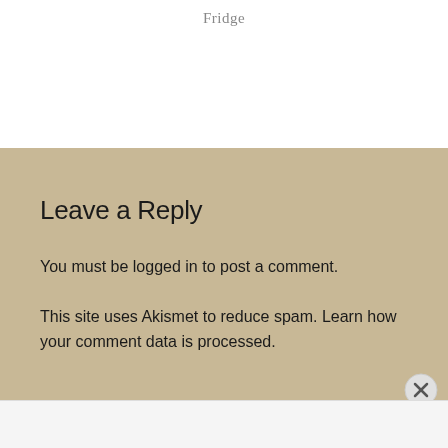Fridge
Leave a Reply
You must be logged in to post a comment.
This site uses Akismet to reduce spam. Learn how your comment data is processed.
Advertisements
[Figure (other): WordPress advertisement banner: 'Opinions. We all have them!' with WordPress logo and NOW logo on dark navy background]